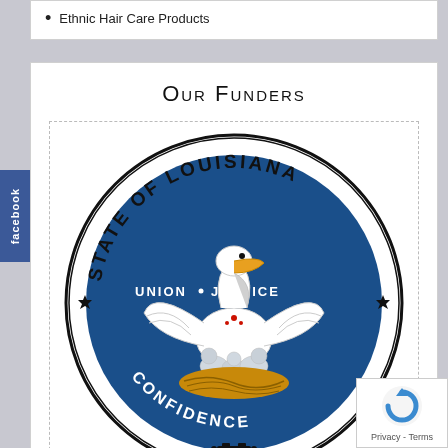Ethnic Hair Care Products
Our Funders
[Figure (logo): State of Louisiana official seal — circular seal with pelican feeding young in nest, text reading STATE OF LOUISIANA, UNION, JUSTICE, CONFIDENCE on blue background with decorative border]
[Figure (logo): Louisiana Department of Children & Family Services logo — two figures with text: Department of Children & Family Services, Building a Stronger Louisiana]
Privacy - Terms